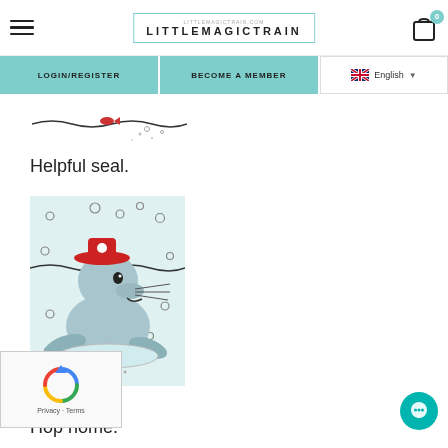LITTLEMAGICTRAIN — website header with hamburger menu, logo, and cart icon
LOGIN/REGISTER    BECOME A MEMBER    English
[Figure (illustration): Partial illustration strip showing a small red element on a wavy underwater scene with bubbles]
Helpful seal.
[Figure (illustration): Cartoon illustration of a seal wearing a red pirate hat, sitting upright with flippers spread, surrounded by small bubble circles, on a light teal background]
Hop home.